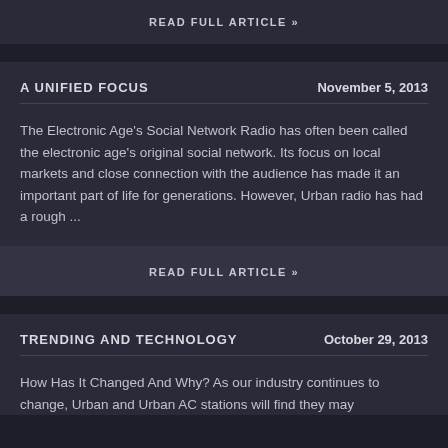READ FULL ARTICLE »
A UNIFIED FOCUS
November 5, 2013
The Electronic Age's Social Network Radio has often been called the electronic age's original social network. Its focus on local markets and close connection with the audience has made it an important part of life for generations. However, Urban radio has had a rough ...
READ FULL ARTICLE »
TRENDING AND TECHNOLOGY
October 29, 2013
How Has It Changed And Why? As our industry continues to change, Urban and Urban AC stations will find they may